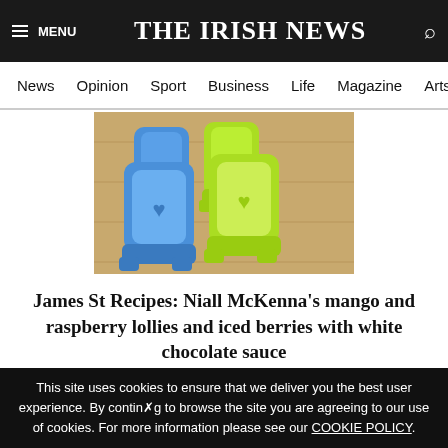THE IRISH NEWS
News  Opinion  Sport  Business  Life  Magazine  Arts
[Figure (photo): Blue and lime green plastic ice lolly moulds on a wooden surface]
James St Recipes: Niall McKenna's mango and raspberry lollies and iced berries with white chocolate sauce
This site uses cookies to ensure that we deliver you the best user experience. By continuing to browse the site you are agreeing to our use of cookies. For more information please see our COOKIE POLICY.